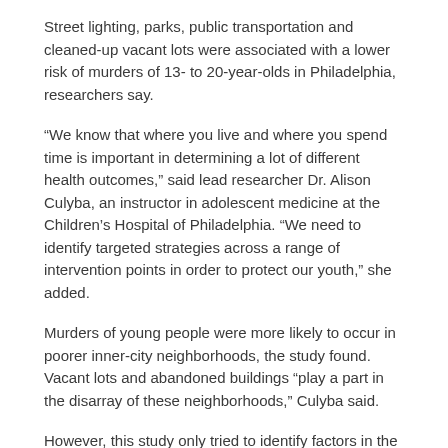Street lighting, parks, public transportation and cleaned-up vacant lots were associated with a lower risk of murders of 13- to 20-year-olds in Philadelphia, researchers say.
“We know that where you live and where you spend time is important in determining a lot of different health outcomes,” said lead researcher Dr. Alison Culyba, an instructor in adolescent medicine at the Children’s Hospital of Philadelphia. “We need to identify targeted strategies across a range of intervention points in order to protect our youth,” she added.
Murders of young people were more likely to occur in poorer inner-city neighborhoods, the study found. Vacant lots and abandoned buildings “play a part in the disarray of these neighborhoods,” Culyba said.
However, this study only tried to identify factors in the physical environment that might affect murder rates and could be targeted to lower those rates, Culyba said.
“We don’t know right now whether or not intervening to change some of these features may lead to decreases in homicide,” Culyba explained.